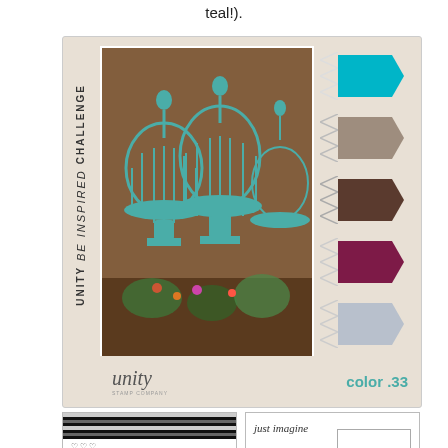teal!).
[Figure (infographic): Unity 'Be Inspired' Challenge color card #33 featuring a photo of teal birdcages and five color swatches: teal, tan, brown, maroon, and silver. Unity stamp company logo and 'color .33' label at bottom.]
[Figure (illustration): Two stamp card sketch designs: left card shows striped banner, heart stamps, a 'love is all we need' sentiment in a rounded box, and a birdcage with birds; right card shows 'just imagine' script, a photo placeholder box, decorative drops, and a small label box.]